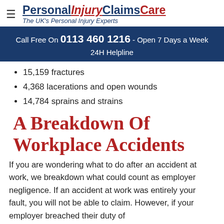PersonalInjuryClaimsCare – The UK's Personal Injury Experts
Call Free On 0113 460 1216 - Open 7 Days a Week 24H Helpline
15,159 fractures
4,368 lacerations and open wounds
14,784 sprains and strains
A Breakdown Of Workplace Accidents
If you are wondering what to do after an accident at work, we breakdown what could count as employer negligence. If an accident at work was entirely your fault, you will not be able to claim. However, if your employer breached their duty of